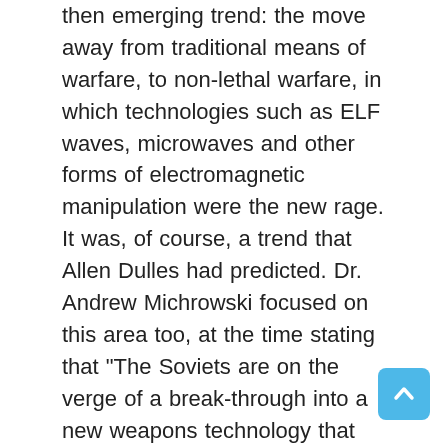then emerging trend: the move away from traditional means of warfare, to non-lethal warfare, in which technologies such as ELF waves, microwaves and other forms of electromagnetic manipulation were the new rage. It was, of course, a trend that Allen Dulles had predicted. Dr. Andrew Michrowski focused on this area too, at the time stating that "The Soviets are on the verge of a break-through into a new weapons technology that will make missiles and bombers obsolete. [...] They could induce panic or illness into whole nations." In short, Dulles' 1953 prediction by the late 1970s seemed to have been realised. Indeed, Adey's toying with LIDA or the Russians building a giant LIDA near Chernobyl are not one-offs. Since the 1984 report about his involvement with LIDA, Dr Ross Adey's name has become more firmly linked with